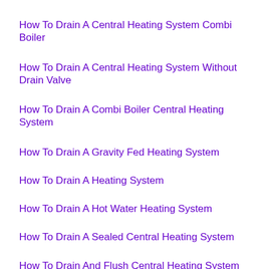How To Drain A Central Heating System Combi Boiler
How To Drain A Central Heating System Without Drain Valve
How To Drain A Combi Boiler Central Heating System
How To Drain A Gravity Fed Heating System
How To Drain A Heating System
How To Drain A Hot Water Heating System
How To Drain A Sealed Central Heating System
How To Drain And Flush Central Heating System
How To Drain And Refill A Central Heating System
How To Drain And Refill Central Heating System